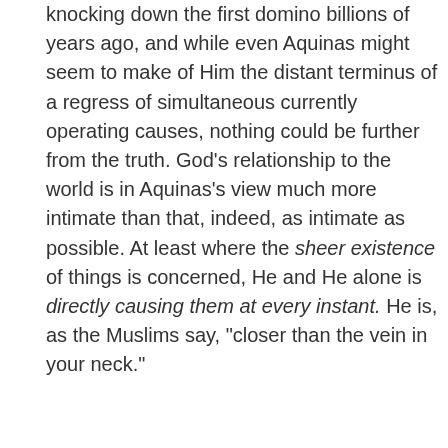knocking down the first domino billions of years ago, and while even Aquinas might seem to make of Him the distant terminus of a regress of simultaneous currently operating causes, nothing could be further from the truth. God's relationship to the world is in Aquinas's view much more intimate than that, indeed, as intimate as possible. At least where the sheer existence of things is concerned, He and He alone is directly causing them at every instant. He is, as the Muslims say, "closer than the vein in your neck."
Originally posted at Edward Feser's blog. Used with author's permission.
(Image credit: VK.com)
Related Posts
[Figure (photo): Thumbnail image 1 (blue sky/clouds)]
[Figure (photo): Thumbnail image 2 (dark background)]
[Figure (photo): Thumbnail image 3 (dark with letter D visible)]
[Figure (photo): Thumbnail image 4 (warm orange/gold tones)]